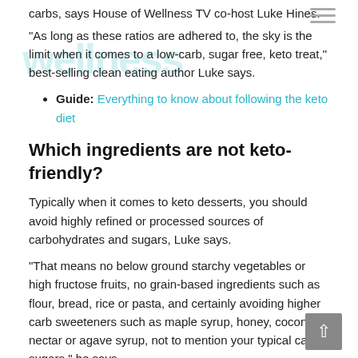carbs, says House of Wellness TV co-host Luke Hines.
“As long as these ratios are adhered to, the sky is the limit when it comes to a low-carb, sugar free, keto treat,” best-selling clean eating author Luke says.
Guide: Everything to know about following the keto diet
Which ingredients are not keto-friendly?
Typically when it comes to keto desserts, you should avoid highly refined or processed sources of carbohydrates and sugars, Luke says.
“That means no below ground starchy vegetables or high fructose fruits, no grain-based ingredients such as flour, bread, rice or pasta, and certainly avoiding higher carb sweeteners such as maple syrup, honey, coconut nectar or agave syrup, not to mention your typical cane sugars,” he says.
Top keto-friendly dessert ingredients
“When it comes to sweeteners you can’t go past monk fruit